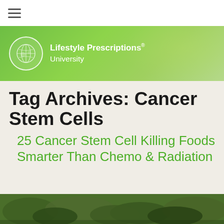≡ (navigation menu icon)
[Figure (logo): Lifestyle Prescriptions University logo with globe icon on green banner background]
Tag Archives: Cancer Stem Cells
25 Cancer Stem Cell Killing Foods Smarter Than Chemo & Radiation
[Figure (photo): Green leafy vegetables photo at bottom of page]